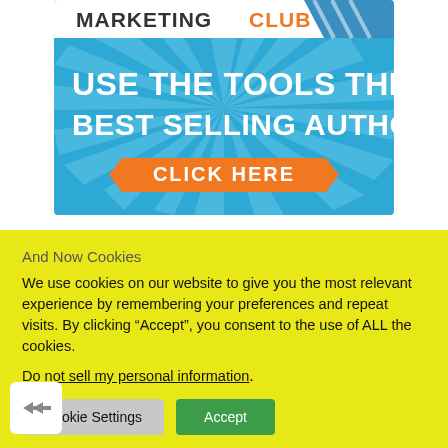[Figure (illustration): Marketing Club advertisement banner with blue radial sunburst background. Top shows 'MARKETING CLUB' text with orange 'CLUB' lettering and diagonal stripe design. Large white bold text reads 'USE THE TOOLS THE BEST SELLING AUTHORS USE'. Orange ribbon banner button at bottom reads 'CLICK HERE' in white text.]
And Now Cookies
We use cookies on our website to give you the most relevant experience by remembering your preferences and repeat visits. By clicking “Accept”, you consent to the use of ALL the cookies.
Do not sell my personal information.